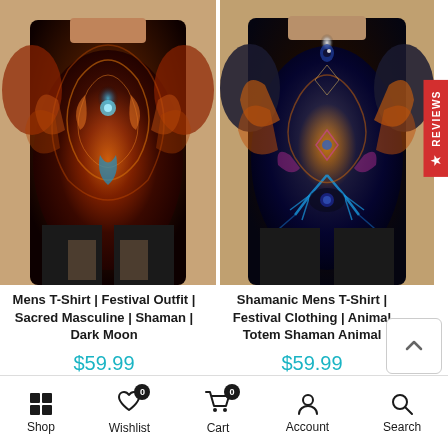[Figure (photo): Back view of man wearing colorful psychedelic festival t-shirt with dark red/orange sacred geometry design]
[Figure (photo): Back view of man wearing colorful psychedelic festival t-shirt with blue/orange animal totem design]
Mens T-Shirt | Festival Outfit | Sacred Masculine | Shaman | Dark Moon
$59.99
Shamanic Mens T-Shirt | Festival Clothing | Animal Totem Shaman Animal
$59.99
★ REVIEWS
Shop  Wishlist  Cart  Account  Search